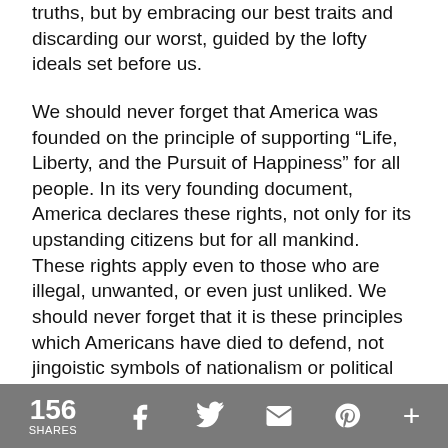truths, but by embracing our best traits and discarding our worst, guided by the lofty ideals set before us.
We should never forget that America was founded on the principle of supporting “Life, Liberty, and the Pursuit of Happiness” for all people. In its very founding document, America declares these rights, not only for its upstanding citizens but for all mankind. These rights apply even to those who are illegal, unwanted, or even just unliked. We should never forget that it is these principles which Americans have died to defend, not jingoistic symbols of nationalism or political rhetoric.
We should never forget that America was not founded to provide safety through isolation or comfort through homogenization. It was created to
156 SHARES